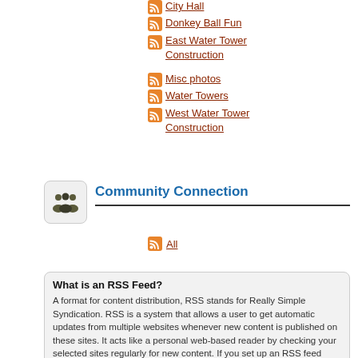City Hall
Donkey Ball Fun
East Water Tower Construction
Misc photos
Water Towers
West Water Tower Construction
Community Connection
All
What is an RSS Feed? A format for content distribution, RSS stands for Really Simple Syndication. RSS is a system that allows a user to get automatic updates from multiple websites whenever new content is published on these sites. It acts like a personal web-based reader by checking your selected sites regularly for new content. If you set up an RSS feed from the New York Times Sports section, for example, you would be notified whenever a new article was posted. The notification takes place in an RSS Reader.